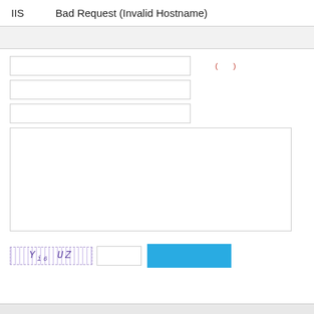IIS　　　Bad Request (Invalid Hostname)
(　　)
[Figure (screenshot): CAPTCHA image showing Yi6UZ text]